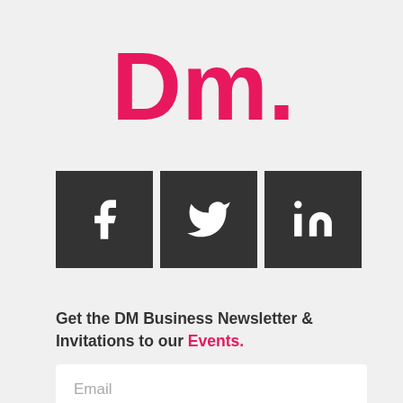[Figure (logo): DM. logo in pink/red color, bold large text]
[Figure (infographic): Three dark square social media icons: Facebook, Twitter, LinkedIn]
Get the DM Business Newsletter & Invitations to our Events.
[Figure (other): Email input field with placeholder text 'Email']
[Figure (other): Pink 'Get Newsletter' button]
By submitting, you agree to our Privacy Policy.